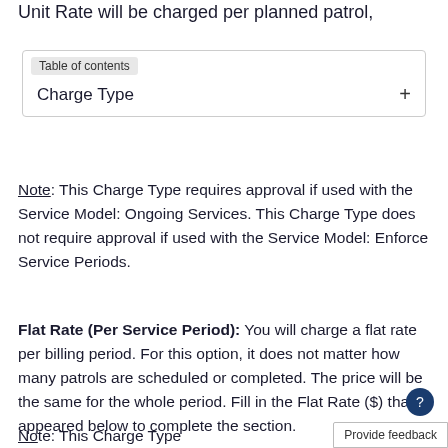Unit Rate will be charged per planned patrol,
| Charge Type |
| --- |
Note: This Charge Type requires approval if used with the Service Model: Ongoing Services. This Charge Type does not require approval if used with the Service Model: Enforce Service Periods.
Flat Rate (Per Service Period): You will charge a flat rate per billing period. For this option, it does not matter how many patrols are scheduled or completed. The price will be the same for the whole period. Fill in the Flat Rate ($) that appeared below to complete the section.
Note: This Charge Type